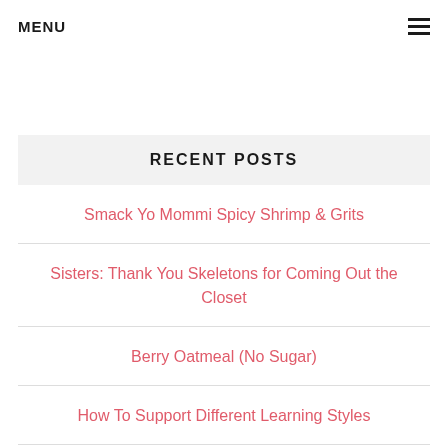MENU ≡
RECENT POSTS
Smack Yo Mommi Spicy Shrimp & Grits
Sisters: Thank You Skeletons for Coming Out the Closet
Berry Oatmeal (No Sugar)
How To Support Different Learning Styles